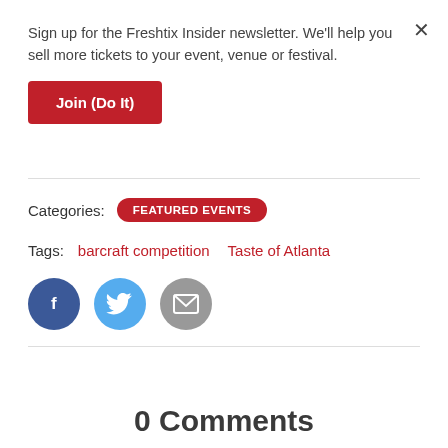Sign up for the Freshtix Insider newsletter. We'll help you sell more tickets to your event, venue or festival.
Join (Do It)
Categories:  FEATURED EVENTS
Tags:  barcraft competition   Taste of Atlanta
[Figure (infographic): Three social share buttons: Facebook (dark blue circle with f), Twitter (light blue circle with bird icon), Email (grey circle with envelope icon)]
0 Comments